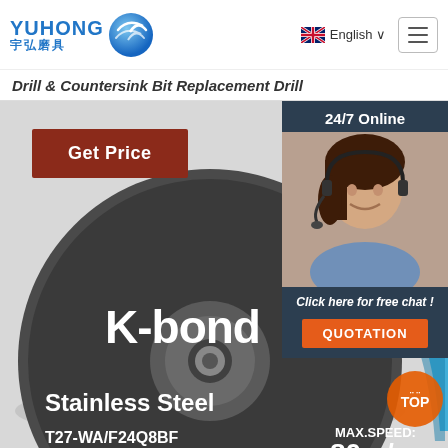[Figure (logo): Yuhong logo with blue wave icon and Chinese text 宇弘磨具]
English
Drill & Countersink Bit Replacement Drill
Get Price
24/7 Online
[Figure (photo): Customer service representative with headset smiling]
Click here for free chat !
QUOTATION
[Figure (photo): K-bond Stainless Steel T27 Grinding Wheel with text: T27-WA/F24Q8BF, MAX.SPEED: 80m/s, T27 Grinding Wheel TOP]